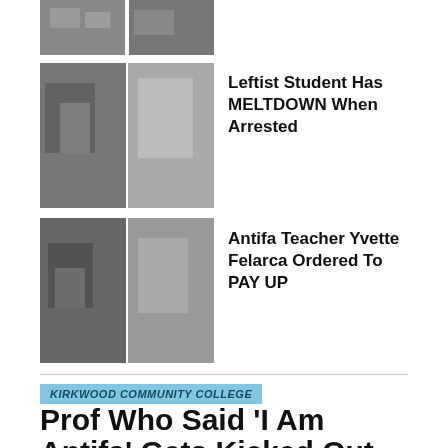[Figure (photo): Two small thumbnail photos side by side at top of page]
[Figure (photo): Two photo thumbnails side by side showing people]
Leftist Student Has MELTDOWN When Arrested
[Figure (photo): Two photo thumbnails side by side showing people]
Antifa Teacher Yvette Felarca Ordered To PAY UP
KIRKWOOD COMMUNITY COLLEGE
Prof Who Said ‘I Am Antifa’ Gets Kicked Out Of Classroom, Resigns
Published 3 years ago on August 27, 2019
By Rob Shimshock
[Figure (photo): Two photo thumbnails at bottom of page]